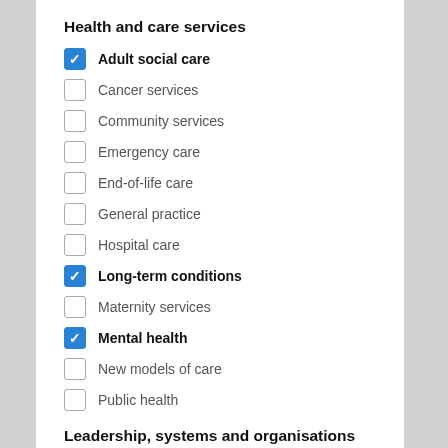Health and care services
Adult social care
Cancer services
Community services
Emergency care
End-of-life care
General practice
Hospital care
Long-term conditions
Maternity services
Mental health
New models of care
Public health
Leadership, systems and organisations
Clinical commissioning groups